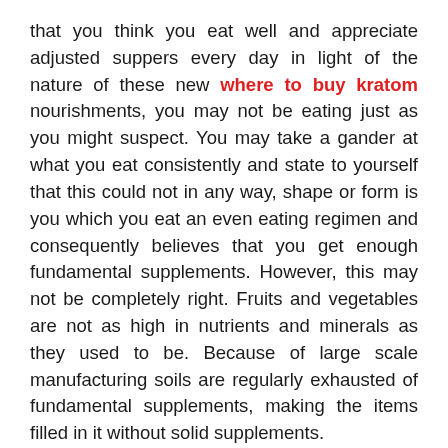that you think you eat well and appreciate adjusted suppers every day in light of the nature of these new where to buy kratom nourishments, you may not be eating just as you might suspect. You may take a gander at what you eat consistently and state to yourself that this could not in any way, shape or form is you which you eat an even eating regimen and consequently believes that you get enough fundamental supplements. However, this may not be completely right. Fruits and vegetables are not as high in nutrients and minerals as they used to be. Because of large scale manufacturing soils are regularly exhausted of fundamental supplements, making the items filled in it without solid supplements.
Furthermore, once picked, products of the soil are covered in sulfur dioxide to safeguard their timeframe of realistic usability in supermarkets and solidified dinners that are promoted as being sound options are